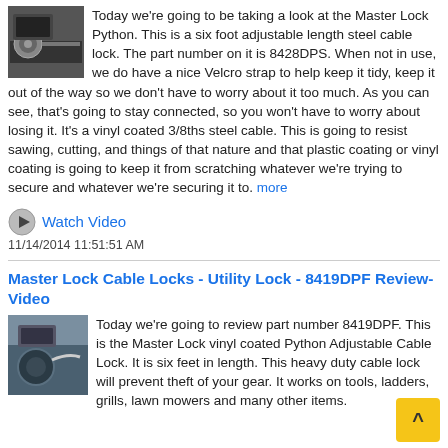Today we're going to be taking a look at the Master Lock Python. This is a six foot adjustable length steel cable lock. The part number on it is 8428DPS. When not in use, we do have a nice Velcro strap to help keep it tidy, keep it out of the way so we don't have to worry about it too much. As you can see, that's going to stay connected, so you won't have to worry about losing it. It's a vinyl coated 3/8ths steel cable. This is going to resist sawing, cutting, and things of that nature and that plastic coating or vinyl coating is going to keep it from scratching whatever we're trying to secure and whatever we're securing it to. more
Watch Video
11/14/2014 11:51:51 AM
Master Lock Cable Locks - Utility Lock - 8419DPF Review-Video
Today we're going to review part number 8419DPF. This is the Master Lock vinyl coated Python Adjustable Cable Lock. It is six feet in length. This heavy duty cable lock will prevent theft of your gear. It works on tools, ladders, grills, lawn mowers and many other items.